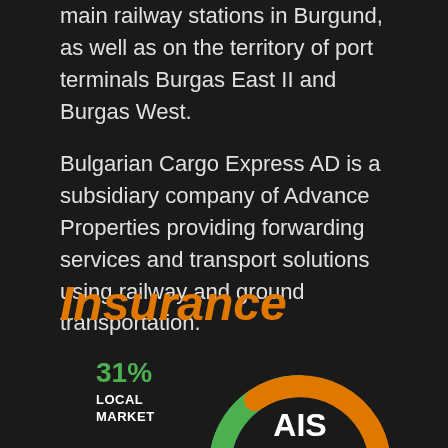main railway stations in Burgund, as well as on the territory of port terminals Burgas East II and Burgas West.
Bulgarian Cargo Express AD is a subsidiary company of Advance Properties providing forwarding services and transport solutions using railway and ground transportation.
Insurance
[Figure (donut-chart): AIS]